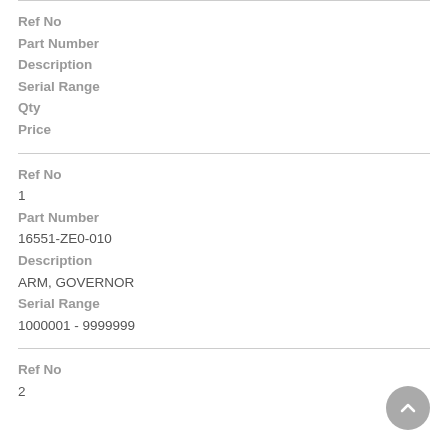| Ref No | Part Number | Description | Serial Range | Qty | Price |
| --- | --- | --- | --- | --- | --- |
| Ref No | Part Number | Description | Serial Range |
| --- | --- | --- | --- |
| 1 | 16551-ZE0-010 | ARM, GOVERNOR | 1000001 - 9999999 |
| Ref No |
| --- |
| 2 |